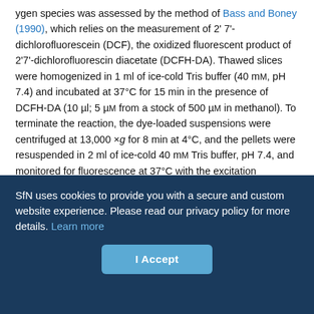ygen species was assessed by the method of Bass and Boney (1990), which relies on the measurement of 2' 7'-dichlorofluorescein (DCF), the oxidized fluorescent product of 2'7'-dichlorofluorescin diacetate (DCFH-DA). Thawed slices were homogenized in 1 ml of ice-cold Tris buffer (40 mM, pH 7.4) and incubated at 37°C for 15 min in the presence of DCFH-DA (10 µl; 5 µM from a stock of 500 µM in methanol). To terminate the reaction, the dye-loaded suspensions were centrifuged at 13,000 ×g for 8 min at 4°C, and the pellets were resuspended in 2 ml of ice-cold 40 mM Tris buffer, pH 7.4, and monitored for fluorescence at 37°C with the excitation wavelength at 488 nm and the emission wavelength at 525 nm. Reactive oxygen species formation in the unknown samples was estimated from a DCF standard curve (0.05–1 µM), and results were expressed as nanomoles per milligram of wet weight per min.
SfN uses cookies to provide you with a secure and custom website experience. Please read our privacy policy for more details. Learn more